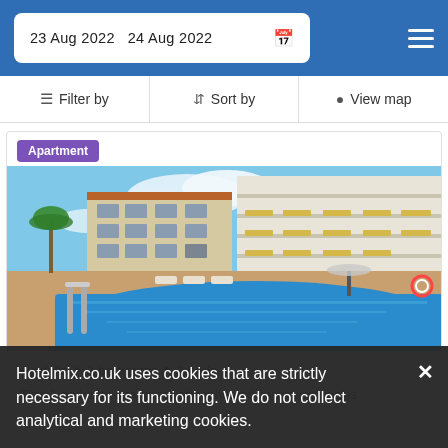23 Aug 2022  24 Aug 2022
Filter by  Sort by  View map
Apartment
[Figure (photo): Photo of an apartment complex with a large outdoor swimming pool in the foreground, palm trees, and multi-storey white building with balconies and awnings]
6 adults • 2 bedrooms • 2 beds
Hotelmix.co.uk uses cookies that are strictly necessary for its functioning. We do not collect analytical and marketing cookies.
This 2 bedroom apartment with a heated swimming pool is